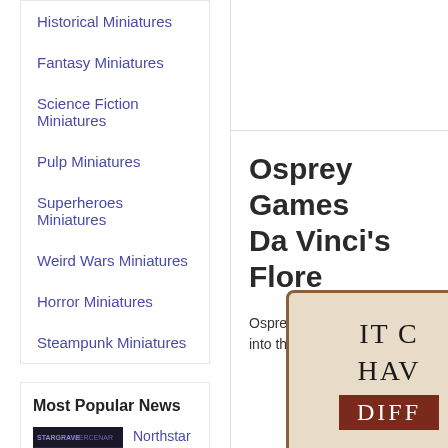Historical Miniatures
Fantasy Miniatures
Science Fiction Miniatures
Pulp Miniatures
Superheroes Miniatures
Weird Wars Miniatures
Horror Miniatures
Steampunk Miniatures
Most Popular News
[Figure (screenshot): Stargrave Mercenaries miniatures promotional image with text STARGRAVE MERCENARIES]
Northstar Miniatures: New Stargrave Hope Eternal & Plastic Female Mercenaries!
Osprey Games Da Vinci's Flore
Osprey Games: What if eve into the clockpunk Renais...
[Figure (photo): Book cover with beige background and text IT C... HAV... DIFF... in dark red banner]